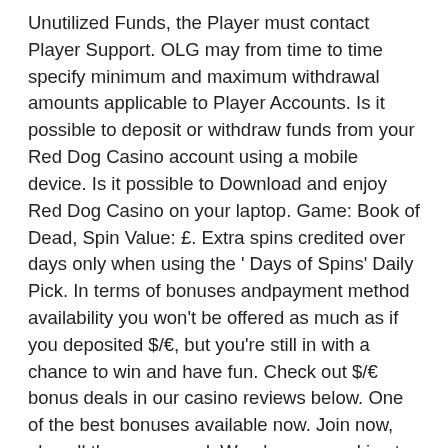Unutilized Funds, the Player must contact Player Support. OLG may from time to time specify minimum and maximum withdrawal amounts applicable to Player Accounts. Is it possible to deposit or withdraw funds from your Red Dog Casino account using a mobile device. Is it possible to Download and enjoy Red Dog Casino on your laptop. Game: Book of Dead, Spin Value: £. Extra spins credited over days only when using the ' Days of Spins' Daily Pick. In terms of bonuses andpayment method availability you won't be offered as much as if you deposited $/€, but you're still in with a chance to win and have fun. Check out $/€ bonus deals in our casino reviews below. One of the best bonuses available now. Join now, play all the year round. We also use cookies to verify your financial information and identity and for fraud prevention purposes. Third parties use cookies on our site to tailor adverts to your interests on third party websites, by tracking your online activity on our website and third